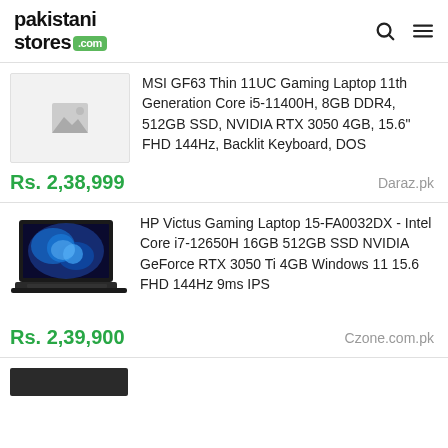pakistanistores.com
[Figure (photo): Placeholder image thumbnail for MSI GF63 laptop listing]
MSI GF63 Thin 11UC Gaming Laptop 11th Generation Core i5-11400H, 8GB DDR4, 512GB SSD, NVIDIA RTX 3050 4GB, 15.6" FHD 144Hz, Backlit Keyboard, DOS
Rs. 2,38,999    Daraz.pk
[Figure (photo): HP Victus Gaming Laptop 15-FA0032DX product photo showing laptop with Windows 11 wallpaper on screen]
HP Victus Gaming Laptop 15-FA0032DX - Intel Core i7-12650H 16GB 512GB SSD NVIDIA GeForce RTX 3050 Ti 4GB Windows 11 15.6 FHD 144Hz 9ms IPS
Rs. 2,39,900    Czone.com.pk